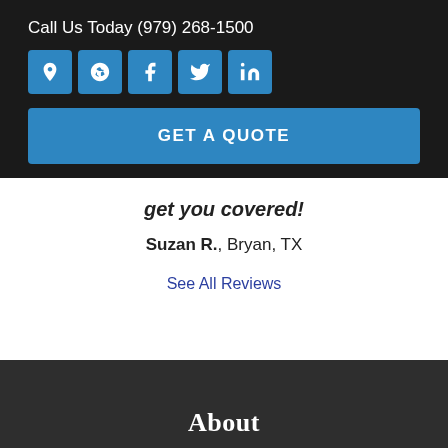Call Us Today (979) 268-1500
[Figure (other): Row of 5 social media icon buttons (location pin, Yelp, Facebook, Twitter, LinkedIn) in blue square buttons]
GET A QUOTE
get you covered!
Suzan R., Bryan, TX
See All Reviews
About